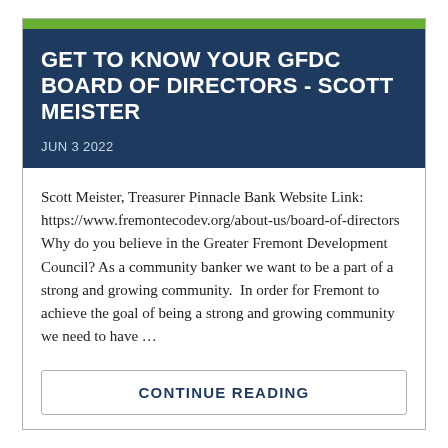GET TO KNOW YOUR GFDC BOARD OF DIRECTORS - SCOTT MEISTER
JUN 3 2022
Scott Meister, Treasurer Pinnacle Bank Website Link: https://www.fremontecodev.org/about-us/board-of-directors Why do you believe in the Greater Fremont Development Council? As a community banker we want to be a part of a strong and growing community.  In order for Fremont to achieve the goal of being a strong and growing community we need to have …
CONTINUE READING